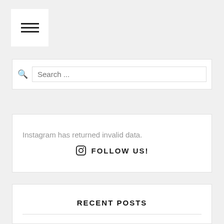[Figure (other): Hamburger menu button icon with three horizontal bars on white background]
[Figure (screenshot): Search input box with magnifying glass icon and placeholder text 'Search ...']
Instagram has returned invalid data.
FOLLOW US!
RECENT POSTS